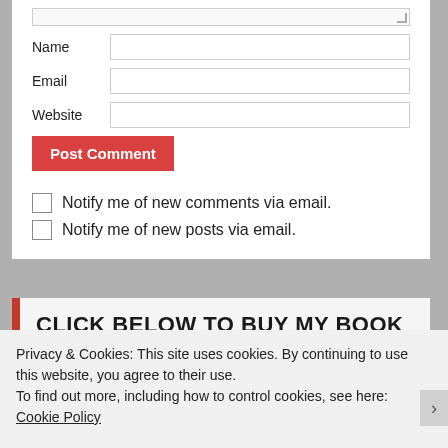[Figure (screenshot): Bottom of a web form with Name, Email, Website fields, a red Post Comment button, and two notification checkboxes]
Name
Email
Website
Post Comment
Notify me of new comments via email.
Notify me of new posts via email.
CLICK BELOW TO BUY MY BOOK ON
Privacy & Cookies: This site uses cookies. By continuing to use this website, you agree to their use.
To find out more, including how to control cookies, see here: Cookie Policy
Close and accept